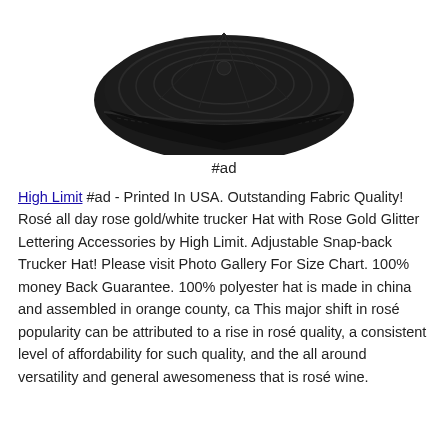[Figure (photo): Black trucker/military style cap viewed from above, showing stitching details on brim and crown, on white background]
#ad
High Limit #ad - Printed In USA. Outstanding Fabric Quality! Rosé all day rose gold/white trucker Hat with Rose Gold Glitter Lettering Accessories by High Limit. Adjustable Snap-back Trucker Hat! Please visit Photo Gallery For Size Chart. 100% money Back Guarantee. 100% polyester hat is made in china and assembled in orange county, ca This major shift in rosé popularity can be attributed to a rise in rosé quality, a consistent level of affordability for such quality, and the all around versatility and general awesomeness that is rosé wine.